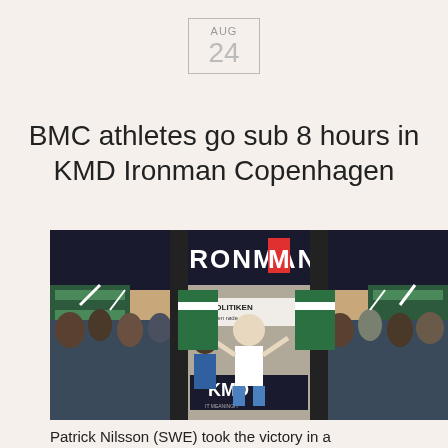AUG 24
BMC athletes go sub 8 hours in KMD Ironman Copenhagen
[Figure (photo): Athlete crossing the finish line at KMD Ironman Copenhagen event, surrounded by cheering crowds, under an IRONMAN arch banner with KMD and Politiken sponsorship signage.]
Patrick Nilsson (SWE) took the victory in a